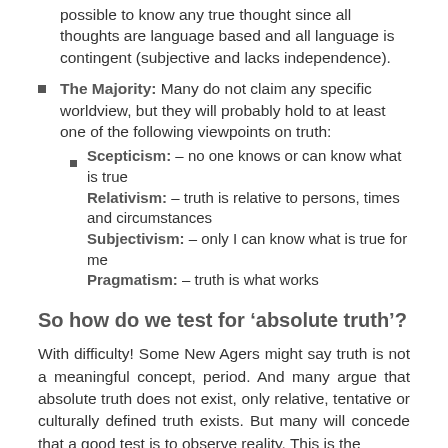possible to know any true thought since all thoughts are language based and all language is contingent (subjective and lacks independence).
The Majority: Many do not claim any specific worldview, but they will probably hold to at least one of the following viewpoints on truth:
Scepticism: – no one knows or can know what is true
Relativism: – truth is relative to persons, times and circumstances
Subjectivism: – only I can know what is true for me
Pragmatism: – truth is what works
So how do we test for 'absolute truth'?
With difficulty! Some New Agers might say truth is not a meaningful concept, period. And many argue that absolute truth does not exist, only relative, tentative or culturally defined truth exists. But many will concede that a good test is to observe reality. This is the